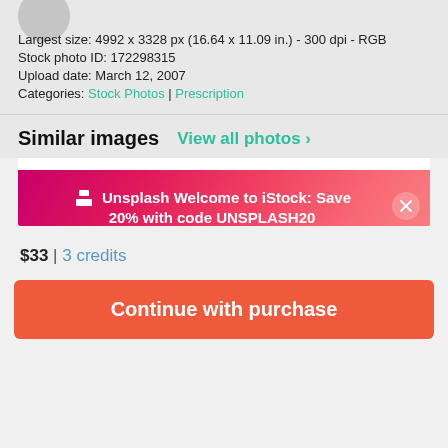Largest size: 4992 x 3328 px (16.64 x 11.09 in.) - 300 dpi - RGB
Stock photo ID: 172298315
Upload date: March 12, 2007
Categories: Stock Photos | Prescription
Similar images
View all photos >
[Figure (screenshot): Unsplash promotional banner overlay on iStock: 'Welcome to iStock: Save 20% with code UNSPLASH20' on a pink/magenta gradient background with close button]
$33 | 3 credits
Continue with purchase